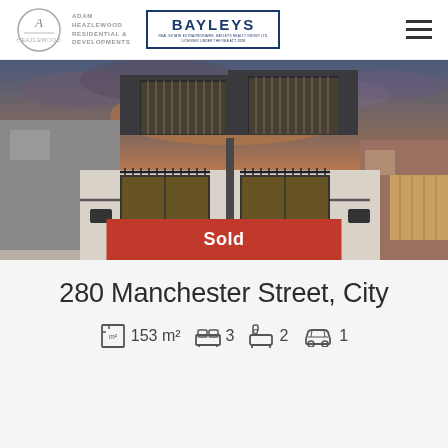[Figure (logo): Adam Heazlewood Residential & Developments logo with Bayleys branding]
[Figure (photo): Modern two-storey residential townhouses with dark cladding, vertical battens and large windows, photographed at dusk with dramatic orange sky. A red Sold banner overlays the bottom centre of the image.]
280 Manchester Street, City
153 m²  3 bedrooms  2 bathrooms  1 garage